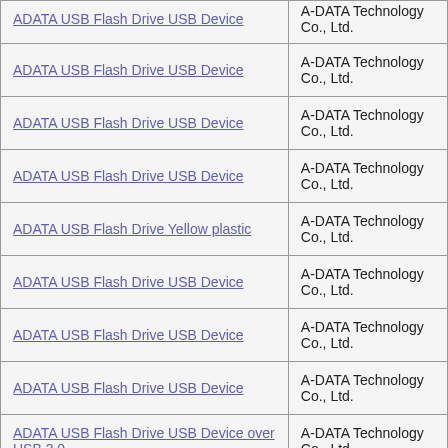| Device Name | Manufacturer |
| --- | --- |
| ADATA USB Flash Drive USB Device | A-DATA Technology Co., Ltd. |
| ADATA USB Flash Drive USB Device | A-DATA Technology Co., Ltd. |
| ADATA USB Flash Drive USB Device | A-DATA Technology Co., Ltd. |
| ADATA USB Flash Drive USB Device | A-DATA Technology Co., Ltd. |
| ADATA USB Flash Drive Yellow plastic | A-DATA Technology Co., Ltd. |
| ADATA USB Flash Drive USB Device | A-DATA Technology Co., Ltd. |
| ADATA USB Flash Drive USB Device | A-DATA Technology Co., Ltd. |
| ADATA USB Flash Drive USB Device | A-DATA Technology Co., Ltd. |
| ADATA USB Flash Drive USB Device over USB 3.0 | A-DATA Technology Co., Ltd. |
| ADATA USB Flash Drive USB Device | A-DATA Technology Co., Ltd. |
| ADATA USB Flash Drive USB Device | A-DATA Technology Co., Ltd. |